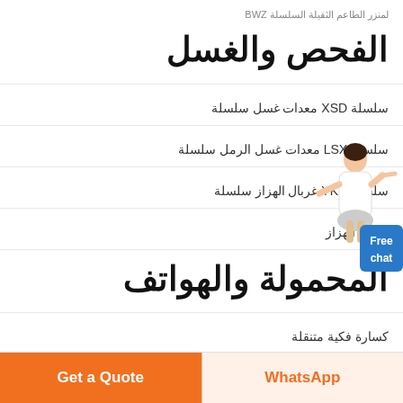لمنزر الطاعم الثقيلة السلسلة BWZ
الفحص والغسل
سلسلة XSD معدات غسل سلسلة
سلسلة LSX معدات غسل الرمل سلسلة
سلسلة YKN غربال الهزاز سلسلة
غربال الهزاز
المحمولة والهواتف
كسارة فكية متنقلة
كسارة مخروطية متنقلة
[Figure (illustration): Woman in white shirt pointing, with a blue 'Free chat' button widget on the right side]
Get a Quote | WhatsApp